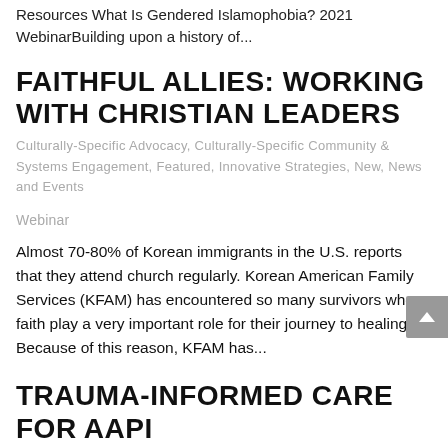Resources What Is Gendered Islamophobia? 2021 WebinarBuilding upon a history of...
FAITHFUL ALLIES: WORKING WITH CHRISTIAN LEADERS
Culturally-Specific Advocacy, Culturally-Specific Community & Systems Engagement, Featured, Innovative Strategies, New, News and Events
Webinar
Almost 70-80% of Korean immigrants in the U.S. reports that they attend church regularly. Korean American Family Services (KFAM) has encountered so many survivors whose faith play a very important role for their journey to healing. Because of this reason, KFAM has...
TRAUMA-INFORMED CARE FOR AAPI